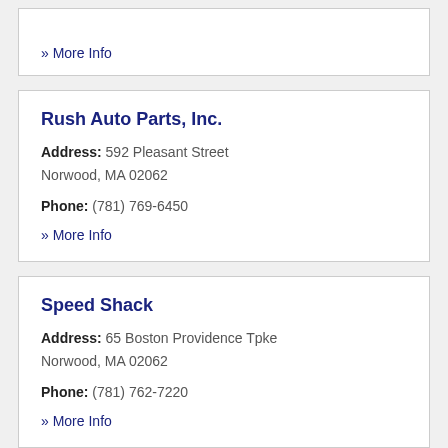» More Info
Rush Auto Parts, Inc.
Address: 592 Pleasant Street
Norwood, MA 02062
Phone: (781) 769-6450
» More Info
Speed Shack
Address: 65 Boston Providence Tpke
Norwood, MA 02062
Phone: (781) 762-7220
» More Info